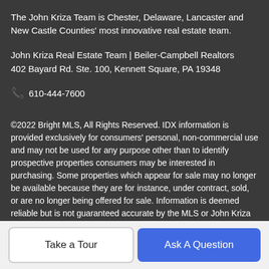The John Kriza Team is Chester, Delaware, Lancaster and New Castle Counties' most innovative real estate team.
John Kriza Real Estate Team | Beiler-Campbell Realtors
402 Bayard Rd. Ste. 100, Kennett Square, PA 19348
📞 610-444-7600
©2022 Bright MLS, All Rights Reserved. IDX information is provided exclusively for consumers' personal, non-commercial use and may not be used for any purpose other than to identify prospective properties consumers may be interested in purchasing. Some properties which appear for sale may no longer be available because they are for instance, under contract, sold, or are no longer being offered for sale. Information is deemed reliable but is not guaranteed accurate by the MLS or John Kriza Real Estate Team | Beiler-Campbell Realtors. Some real estate firms do
Take a Tour
Ask A Question